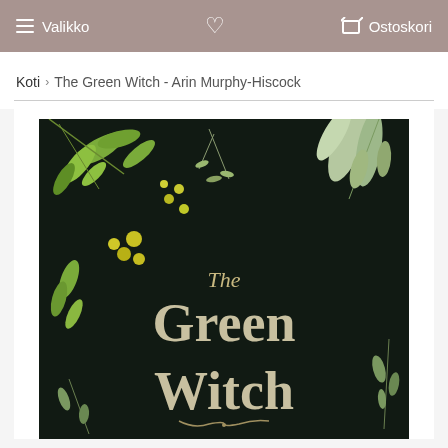Valikko   ♥   Ostoskori
Koti › The Green Witch - Arin Murphy-Hiscock
[Figure (photo): Book cover of 'The Green Witch' by Arin Murphy-Hiscock. Dark black background with green botanical illustrations of leaves, flowers, and herbs. Title text reads 'The Green Witch' in large serif font.]